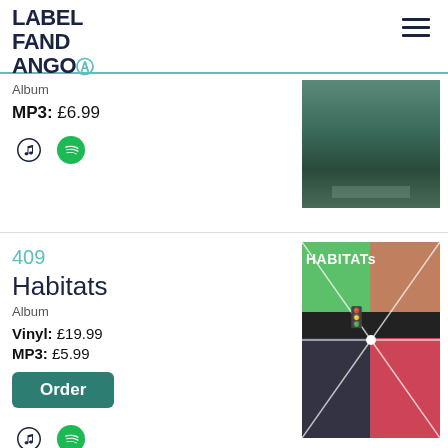[Figure (logo): Label Fandango logo in dark navy, bold uppercase stacked text]
Album
MP3: £6.99
[Figure (photo): Photo of an old railway station platform with a bridge in the background]
409
Habitats
Album
Vinyl: £19.99
MP3: £5.99
Order
[Figure (photo): Habitats album artwork — pinwheel mosaic of photos with HABITATS text at top, traffic lights, crowd scenes, neon signs]